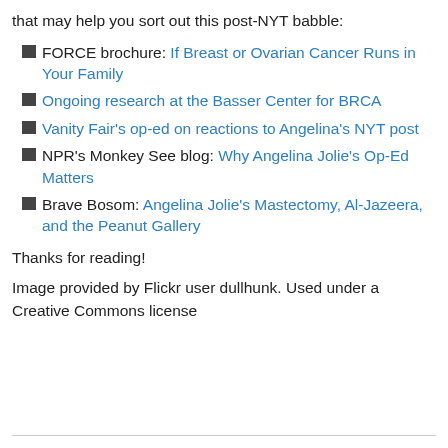that may help you sort out this post-NYT babble:
FORCE brochure: If Breast or Ovarian Cancer Runs in Your Family
Ongoing research at the Basser Center for BRCA
Vanity Fair's op-ed on reactions to Angelina's NYT post
NPR's Monkey See blog: Why Angelina Jolie's Op-Ed Matters
Brave Bosom: Angelina Jolie's Mastectomy, Al-Jazeera, and the Peanut Gallery
Thanks for reading!
Image provided by Flickr user dullhunk. Used under a Creative Commons license